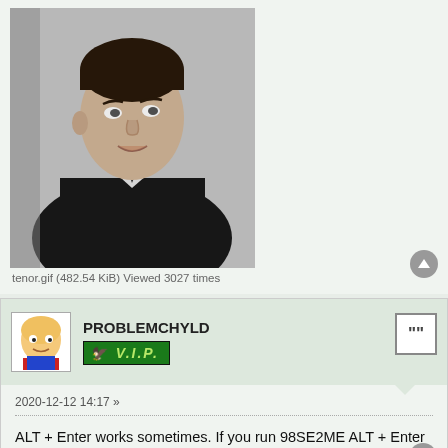[Figure (photo): Black and white photo of a young man in a suit and tie, looking upward to the side]
tenor.gif (482.54 KiB) Viewed 3027 times
PROBLEMCHYLD
2020-12-12 14:17 »
ALT + Enter works sometimes. If you run 98SE2ME ALT + Enter doesn't work.